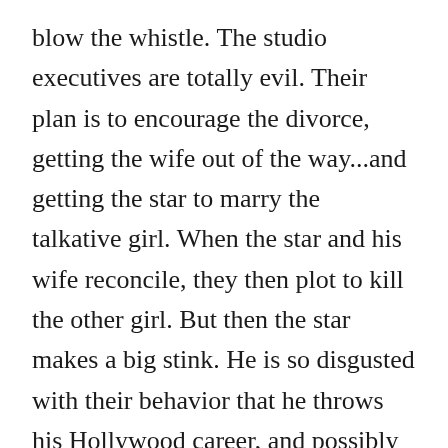blow the whistle. The studio executives are totally evil. Their plan is to encourage the divorce, getting the wife out of the way...and getting the star to marry the talkative girl. When the star and his wife reconcile, they then plot to kill the other girl. But then the star makes a big stink. He is so disgusted with their behavior that he throws his Hollywood career, and possibly his freedom, away. The news arrives that the bit player has been hit by a car, but it's too late: the star has himself committed suicide. This ending is a bit melodramatic for my tastes, not to mention a stretch, and somewhat unnecessary. I think there must be ten better endings for this